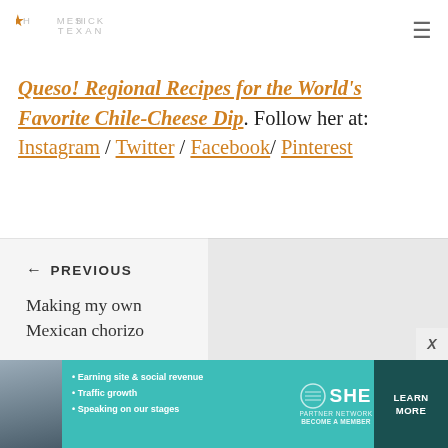HOMESICK TEXAN (logo with star icon and hamburger menu)
Queso! Regional Recipes for the World's Favorite Chile-Cheese Dip. Follow her at: Instagram / Twitter / Facebook/ Pinterest
← PREVIOUS
Making my own Mexican chorizo
[Figure (screenshot): SHE Partner Network advertisement banner with teal background, woman photo, bullet points: Earning site & social revenue, Traffic growth, Speaking on our stages, SHE logo, LEARN MORE button]
X (close button)